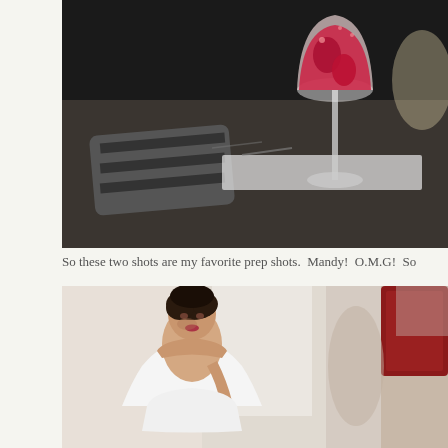[Figure (photo): A champagne flute filled with a red strawberry drink on a dark surface with a folded striped cloth/towel in the foreground, vanity/makeup table setting in background]
So these two shots are my favorite prep shots.  Mandy!  O.M.G!  So
[Figure (photo): A bride with dark upswept hair, wearing a white strapless dress, looking down, with soft window light behind her]
[Figure (photo): Partial view of another scene with a red object visible, blurred background]